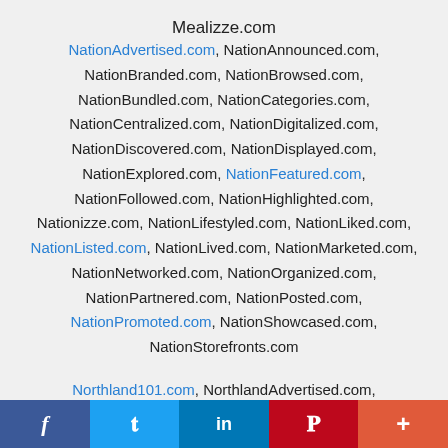Mealizze.com
NationAdvertised.com, NationAnnounced.com, NationBranded.com, NationBrowsed.com, NationBundled.com, NationCategories.com, NationCentralized.com, NationDigitalized.com, NationDiscovered.com, NationDisplayed.com, NationExplored.com, NationFeatured.com, NationFollowed.com, NationHighlighted.com, Nationizze.com, NationLifestyled.com, NationLiked.com, NationListed.com, NationLived.com, NationMarketed.com, NationNetworked.com, NationOrganized.com, NationPartnered.com, NationPosted.com, NationPromoted.com, NationShowcased.com, NationStorefronts.com
Northland101.com, NorthlandAdvertised.com,
f  t  in  P  +